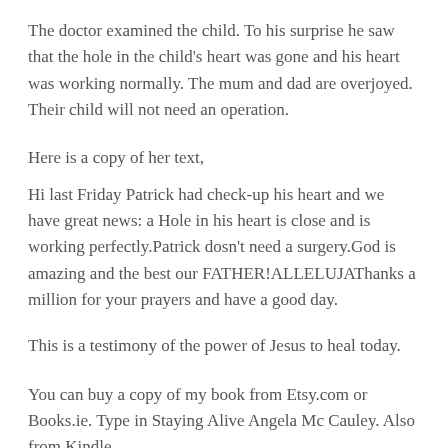The doctor examined the child. To his surprise he saw that the hole in the child's heart was gone and his heart was working normally. The mum and dad are overjoyed. Their child will not need an operation.
Here is a copy of her text,
Hi last Friday Patrick had check-up his heart and we have great news: a Hole in his heart is close and is working perfectly.Patrick dosn't need a surgery.God is amazing and the best our FATHER!ALLELUJAThanks a million for your prayers and have a good day.
This is a testimony of the power of Jesus to heal today.
You can buy a copy of my book from Etsy.com or Books.ie. Type in Staying Alive Angela Mc Cauley. Also from Kindle.